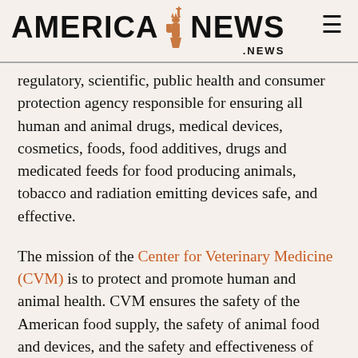AMERICA NEWS .NEWS
regulatory, scientific, public health and consumer protection agency responsible for ensuring all human and animal drugs, medical devices, cosmetics, foods, food additives, drugs and medicated feeds for food producing animals, tobacco and radiation emitting devices safe, and effective.
The mission of the Center for Veterinary Medicine (CVM) is to protect and promote human and animal health. CVM ensures the safety of the American food supply, the safety of animal food and devices, and the safety and effectiveness of animal drugs. Specifically, CVM evaluates new animal drug applications for safety and effectiveness; monitors animal drugs, foods, and devices on the market; evaluates animal food additives for safety and utility; and conducts applied research to further protect human and...